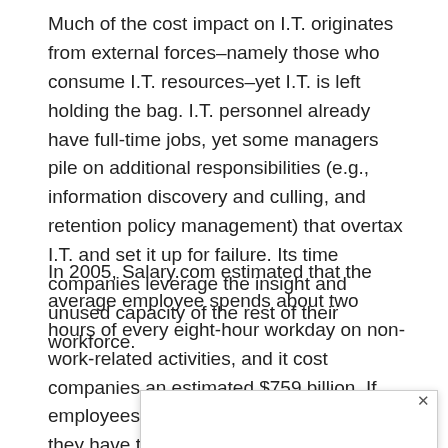Much of the cost impact on I.T. originates from external forces–namely those who consume I.T. resources–yet I.T. is left holding the bag. I.T. personnel already have full-time jobs, yet some managers pile on additional responsibilities (e.g., information discovery and culling, and retention policy management) that overtax I.T. and set it up for failure. Its time companies leverage the insight and unused capacity of the rest of their workforce.
In 2005, Salary.com estimated that the average employee spends about two hours of every eight-hour workday on non-work-related activities, and it cost companies an estimated $759 billion. If employees have time to surf eBay, then they have time to lend I.T. a helping hand. How about putting your employees to work finding and removing their non-work-related f [dialog obscures] manage [dialog obscures] ble